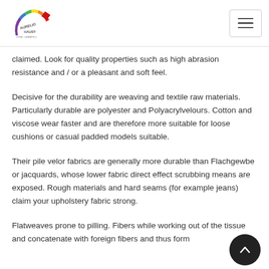Aurelio Haus logo and navigation
claimed. Look for quality properties such as high abrasion resistance and / or a pleasant and soft feel.
Decisive for the durability are weaving and textile raw materials. Particularly durable are polyester and Polyacrylvelours. Cotton and viscose wear faster and are therefore more suitable for loose cushions or casual padded models suitable.
Their pile velor fabrics are generally more durable than Flachgewbe or jacquards, whose lower fabric direct effect scrubbing means are exposed. Rough materials and hard seams (for example jeans) claim your upholstery fabric strong.
Flatweaves prone to pilling. Fibers while working out of the tissue and concatenate with foreign fibers and thus form